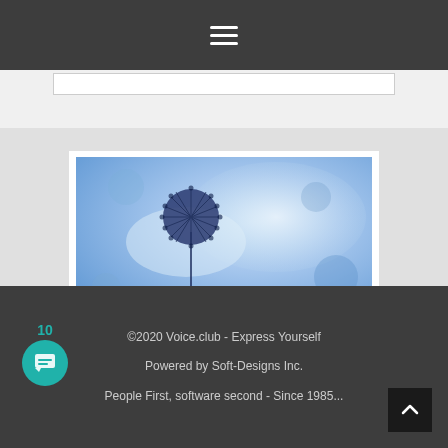Navigation menu icon (hamburger)
[Figure (illustration): A watercolor-style illustration of a dandelion flower with a dark blue/indigo spiky circular head on a thin stem, set against a soft blue sky background with light cloud-like areas. The image is in a wide panoramic format with white matting around it.]
©2020 Voice.club - Express Yourself
Powered by Soft-Designs Inc.
People First, software second - Since 1985...